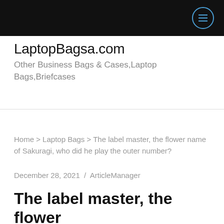≡
LaptopBagsa.com
Other Business Bags & Cases,Laptop Bags,Briefcases
Home > Laptop Bags > The label master, the flower name of Sakuragi, who did he play the outer number?
December 28, 2021  /  ArticleManager
The label master, the flower name of Sakuragi, who did